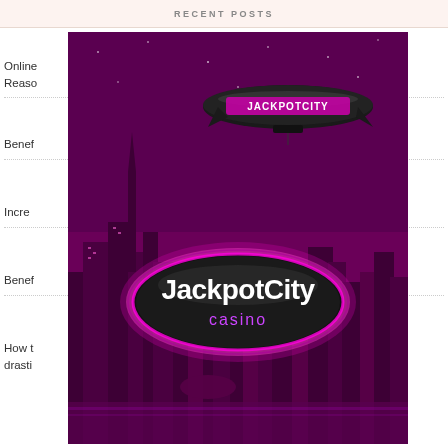RECENT POSTS
[Figure (photo): JackpotCity Casino promotional image showing a city skyline at night tinted in purple/magenta, with a blimp bearing the JACKPOTCITY logo and a large oval badge reading JackpotCity casino in the foreground.]
Online ... w the Reasons
Benefits
Increm...
Benefits ... s
How t... drastically